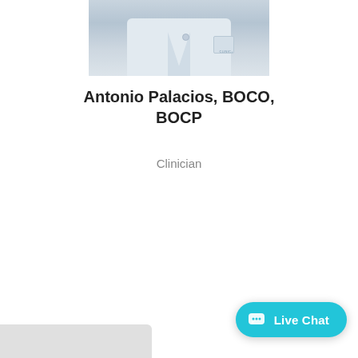[Figure (photo): Photo of Antonio Palacios wearing a white lab coat, partially cropped showing torso and lower face area]
Antonio Palacios, BOCO, BOCP
Clinician
[Figure (screenshot): Live Chat button in teal/cyan color with chat bubble icon and text 'Live Chat']